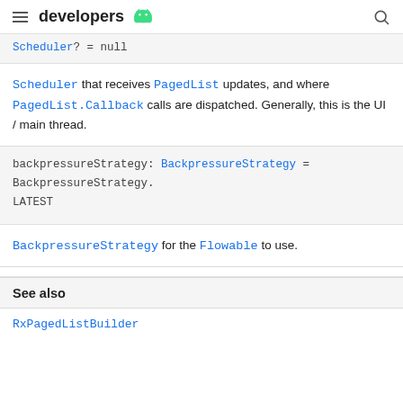developers
Scheduler? = null
Scheduler that receives PagedList updates, and where PagedList.Callback calls are dispatched. Generally, this is the UI / main thread.
backpressureStrategy: BackpressureStrategy = BackpressureStrategy.LATEST
BackpressureStrategy for the Flowable to use.
See also
RxPagedListBuilder